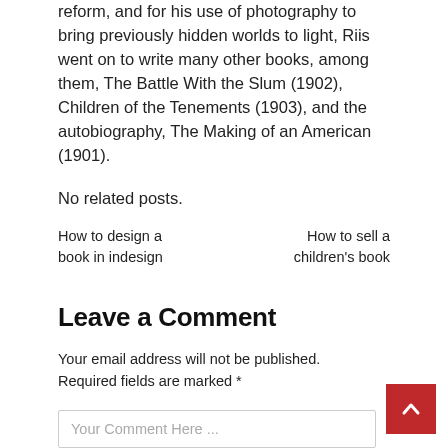reform, and for his use of photography to bring previously hidden worlds to light, Riis went on to write many other books, among them, The Battle With the Slum (1902), Children of the Tenements (1903), and the autobiography, The Making of an American (1901).
No related posts.
How to design a book in indesign
How to sell a children's book
Leave a Comment
Your email address will not be published. Required fields are marked *
Your Comment Here ...